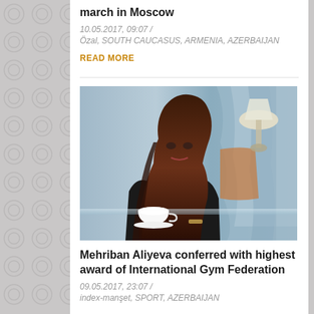march in Moscow
10.05.2017, 09:07 /
Özal, SOUTH CAUCASUS, ARMENIA, AZERBAIJAN
READ MORE
[Figure (photo): Woman with dark wavy hair wearing a black top, seated at a glass table with a white teacup, in an elegant room with a lamp and draped curtains in the background]
Mehriban Aliyeva conferred with highest award of International Gym Federation
09.05.2017, 23:07 /
index-manşet, SPORT, AZERBAIJAN